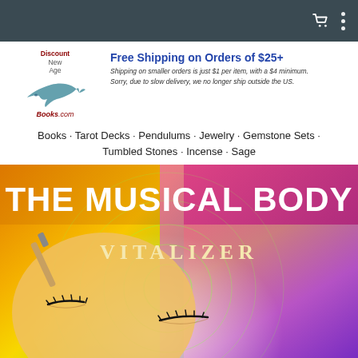Navigation bar with cart and menu icons
[Figure (logo): Discount New Age Books.com logo with dolphin graphic]
Free Shipping on Orders of $25+
Shipping on smaller orders is just $1 per item, with a $4 minimum.
Sorry, due to slow delivery, we no longer ship outside the US.
Books · Tarot Decks · Pendulums · Jewelry · Gemstone Sets · Tumbled Stones · Incense · Sage
[Figure (photo): Book cover of 'The Musical Body Vitalizer' — colorful gradient background (red, orange, yellow, green, pink, purple) with a person's face with closed eyes and sound wave circles overlaid.]